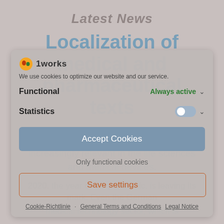Latest News
Localization of medical and pharmaceutical texts
Wording and formulation are becoming increasingly relevant in the life sciences and medical devices.
2020, the year of the pandemic, is leaving its mark. Even the German medical technology sector, which is
[Figure (screenshot): Cookie consent dialog overlay with logo showing '1works', cookie description text, Functional row with 'Always active' and chevron, Statistics row with toggle switch and chevron, Accept Cookies button, Only functional cookies link, Save settings button, and footer links: Cookie-Richtlinie, General Terms and Conditions, Legal Notice]
We use cookies to optimize our website and our service.
Functional
Always active
Statistics
Accept Cookies
Only functional cookies
Save settings
Cookie-Richtlinie · General Terms and Conditions Legal Notice